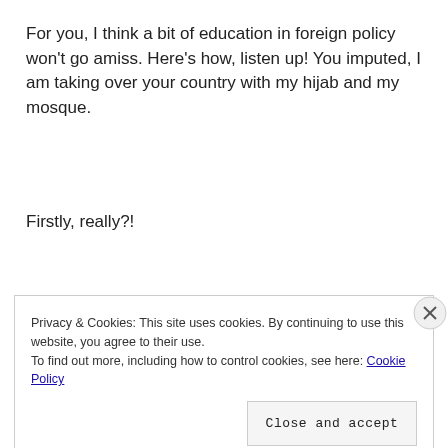For you, I think a bit of education in foreign policy won't go amiss. Here's how, listen up! You imputed, I am taking over your country with my hijab and my mosque.
Firstly, really?!
Secondly, from what I understand, taking over a country
Privacy & Cookies: This site uses cookies. By continuing to use this website, you agree to their use.
To find out more, including how to control cookies, see here: Cookie Policy
Close and accept